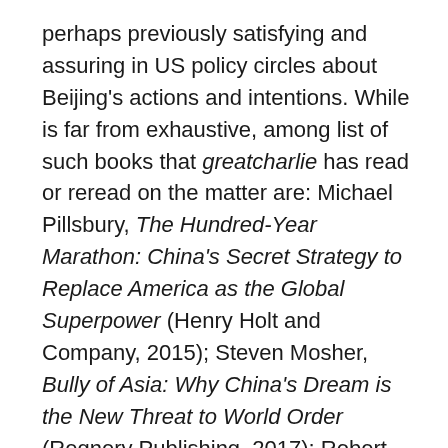perhaps previously satisfying and assuring in US policy circles about Beijing’s actions and intentions. While is far from exhaustive, among list of such books that greatcharlie has read or reread on the matter are: Michael Pillsbury, The Hundred-Year Marathon: China’s Secret Strategy to Replace America as the Global Superpower (Henry Holt and Company, 2015); Steven Mosher, Bully of Asia: Why China’s Dream is the New Threat to World Order (Regnery Publishing, 2017); Robert Spalding, Stealth War: How China Took Over While America’s Elite Slept (Portfolio, 2019); and, Bill Gertz, Deceiving the Sky: Inside Communist China’s Drive for Global Supremacy (Encounter Books, 2019). Those with a keen interest in what has popularly been called “The China Threat” surely possess copies of one or more of these texts and likely have frequently made a long arm for copies in their